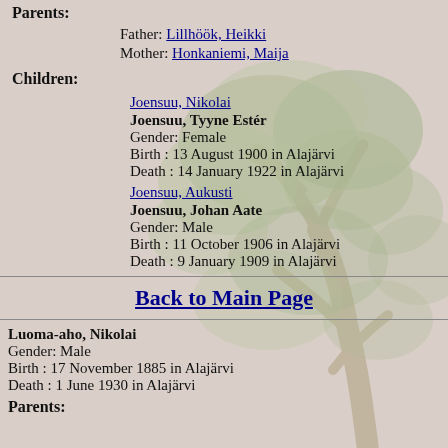Parents:
Father: Lillhöök, Heikki
Mother: Honkaniemi, Maija
Children:
Joensuu, Nikolai
Joensuu, Tyyne Ester
Gender: Female
Birth : 13 August 1900 in Alajärvi
Death : 14 January 1922 in Alajärvi
Joensuu, Aukusti
Joensuu, Johan Aate
Gender: Male
Birth : 11 October 1906 in Alajärvi
Death : 9 January 1909 in Alajärvi
Back to Main Page
Luoma-aho, Nikolai
Gender: Male
Birth : 17 November 1885 in Alajärvi
Death : 1 June 1930 in Alajärvi
Parents: